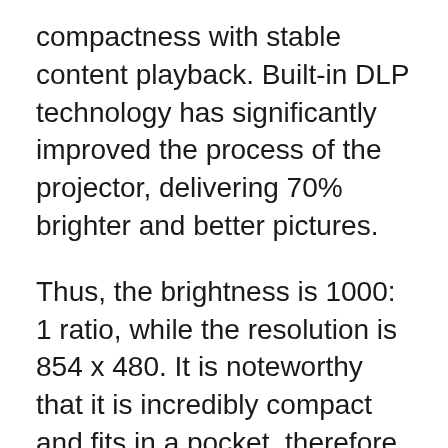compactness with stable content playback. Built-in DLP technology has significantly improved the process of the projector, delivering 70% brighter and better pictures.
Thus, the brightness is 1000: 1 ratio, while the resolution is 854 x 480. It is noteworthy that it is incredibly compact and fits in a pocket, therefore it is suitable for everyday use wherever you want it because it weighs like a second smartphone in the pocket. In addition, the kit comes with a tripod that rotates 360 degrees for wide-angle transmission.
The built-in battery can last up to 2 hours on a full charge, which can be enough for watching a presentation or giving a lecture